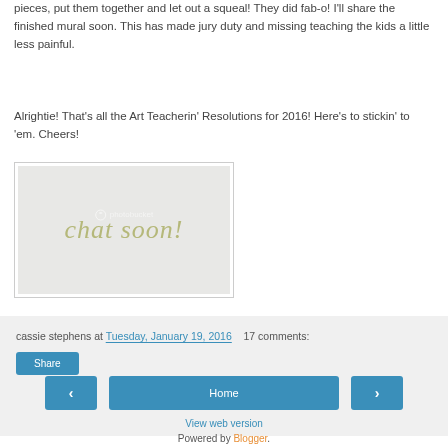pieces, put them together and let out a squeal! They did fab-o! I'll share the finished mural soon. This has made jury duty and missing teaching the kids a little less painful.
Alrightie! That's all the Art Teacherin' Resolutions for 2016! Here's to stickin' to 'em. Cheers!
[Figure (illustration): Image with 'chat soon!' text in olive/yellow-green cursive script on a light gray background, with a Photobucket watermark overlay.]
cassie stephens at Tuesday, January 19, 2016   17 comments:
Share
Home | View web version | Powered by Blogger.